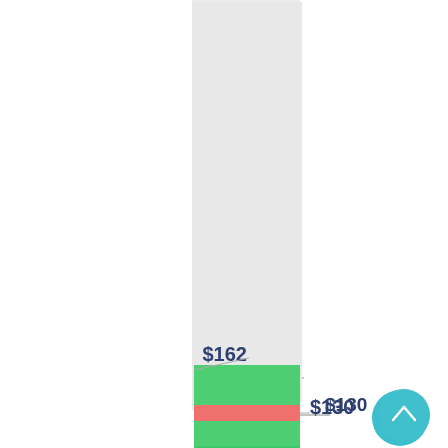[Figure (bar-chart): Bar chart with $162 and $130 values]